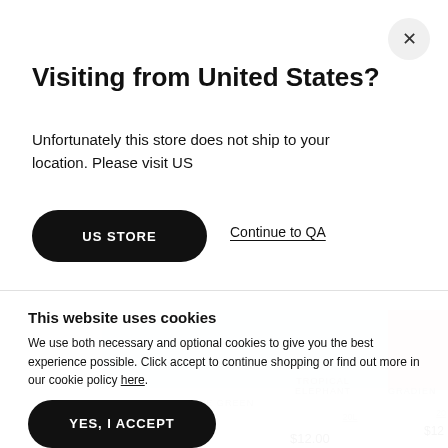Visiting from United States?
Unfortunately this store does not ship to your location. Please visit US
US STORE
Continue to QA
This website uses cookies
We use both necessary and optional cookies to give you the best experience possible. Click accept to continue shopping or find out more in our cookie policy here.
MATTE GREEN
TROPICAL ELEPHANT
GRADIEN
20L
20
$12.00
$12.00
$12
YES, I ACCEPT